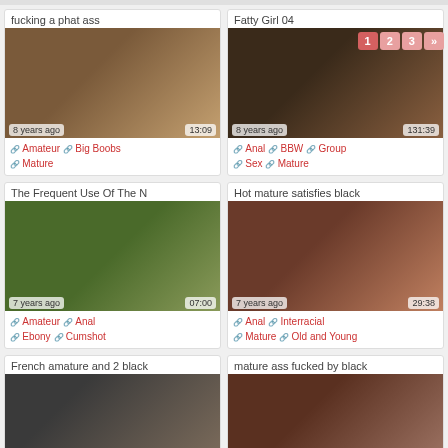fucking a phat ass
[Figure (photo): Thumbnail image for video: fucking a phat ass, 8 years ago, 13:09]
Amateur | Big Boobs | Mature
Fatty Girl 04
[Figure (photo): Thumbnail image for video: Fatty Girl 04, 8 years ago, 131:39]
Anal | BBW | Group Sex | Mature
The Frequent Use Of The N
[Figure (photo): Thumbnail image for video: The Frequent Use Of The N, 7 years ago, 07:00]
Amateur | Anal | Ebony | Cumshot
Hot mature satisfies black
[Figure (photo): Thumbnail image for video: Hot mature satisfies black, 7 years ago, 29:38]
Anal | Interracial | Mature | Old and Young
French amature and 2 black
[Figure (photo): Thumbnail image for video: French amature and 2 black]
mature ass fucked by black
[Figure (photo): Thumbnail image for video: mature ass fucked by black]